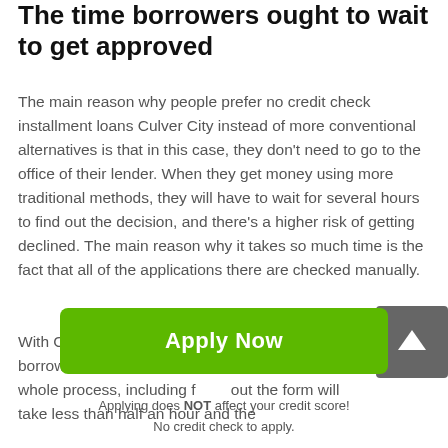The time borrowers ought to wait to get approved
The main reason why people prefer no credit check installment loans Culver City instead of more conventional alternatives is that in this case, they don't need to go to the office of their lender. When they get money using more traditional methods, they will have to wait for several hours to find out the decision, and there's a higher risk of getting declined. The main reason why it takes so much time is the fact that all of the applications there are checked manually.
With Culver City online installment loans, borrowers don't have to wait for hours. The whole process, including filling out the form will take less than half an hour and the
[Figure (other): Scroll-to-top button with upward arrow icon on dark grey background]
Apply Now
Applying does NOT affect your credit score!
No credit check to apply.